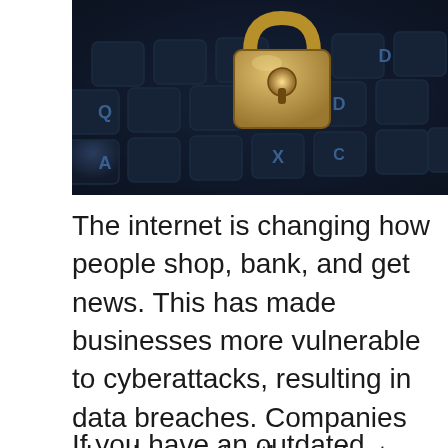[Figure (photo): Close-up photo of a gold padlock resting on a dark laptop keyboard, with keys including Q, A, S, D, X, C visible in the background, dark blue-tinted lighting.]
The internet is changing how people shop, bank, and get news. This has made businesses more vulnerable to cyberattacks, resulting in data breaches. Companies should constantly evaluate their website's protection options to ensure that your data stays safe.
If you have an outdated firewall or